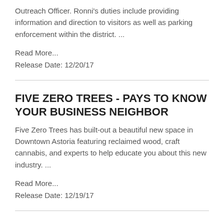Outreach Officer. Ronni's duties include providing information and direction to visitors as well as parking enforcement within the district. ...
Read More...
Release Date: 12/20/17
FIVE ZERO TREES - PAYS TO KNOW YOUR BUSINESS NEIGHBOR
Five Zero Trees has built-out a beautiful new space in Downtown Astoria featuring reclaimed wood, craft cannabis, and experts to help educate you about this new industry. ...
Read More...
Release Date: 12/19/17
ASTORIA MAKERS - MEET YOUR BUSINESS